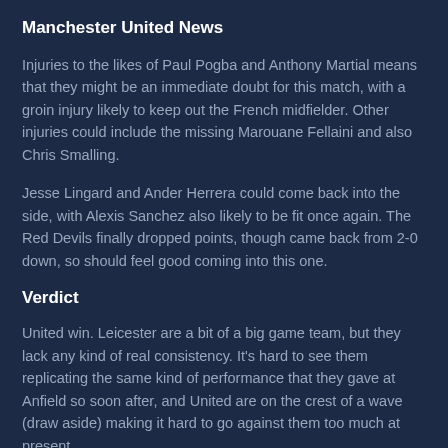Manchester United News
Injuries to the likes of Paul Pogba and Anthony Martial means that they might be an immediate doubt for this match, with a groin injury likely to keep out the French midfielder. Other injuries could include the missing Marouane Fellaini and also Chris Smalling.
Jesse Lingard and Ander Herrera could come back into the side, with Alexis Sanchez also likely to be fit once again. The Red Devils finally dropped points, though came back from 2-0 down, so should feel good coming into this one.
Verdict
United win. Leicester are a bit of a big game team, but they lack any kind of real consistency. It’s hard to see them replicating the same kind of performance that they gave at Anfield so soon after, and United are on the crest of a wave (draw aside) making it hard to go against them too much at present.
G